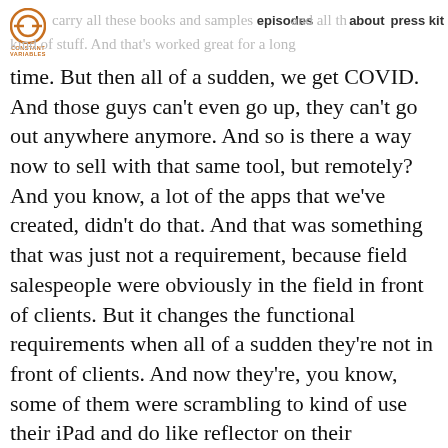Constant Variables logo | episodes | about | press kit
carry all these books and samples and all that kind of stuff. And that's worked great for a long time. But then all of a sudden, we get COVID. And those guys can't even go up, they can't go out anywhere anymore. And so is there a way now to sell with that same tool, but remotely? And you know, a lot of the apps that we've created, didn't do that. And that was something that was just not a requirement, because field salespeople were obviously in the field in front of clients. But it changes the functional requirements when all of a sudden they're not in front of clients. And now they're, you know, some of them were scrambling to kind of use their iPad and do like reflector on their computer to show it over a resume and all sorts of just bad fixes. And so, you know, is there, and we're still working on this, but